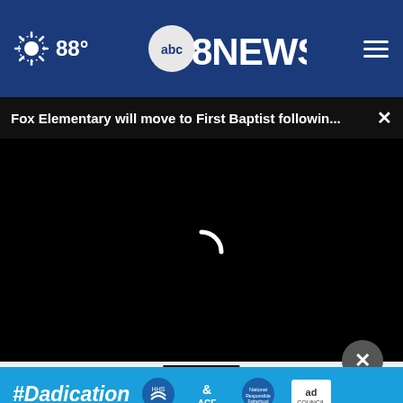88° abc8NEWS
Fox Elementary will move to First Baptist followin... ×
[Figure (screenshot): Black video player area with a white loading spinner arc in the center]
NEXT *
[Figure (infographic): #Dadication ad banner with ACF and Ad Council logos on cyan/blue background]
* By clicking Submit you agree to share your name and email address with your franchise to fulfill this request, you also confirm you have read and agree to the CivicScience Privacy Policy and Terms of Service